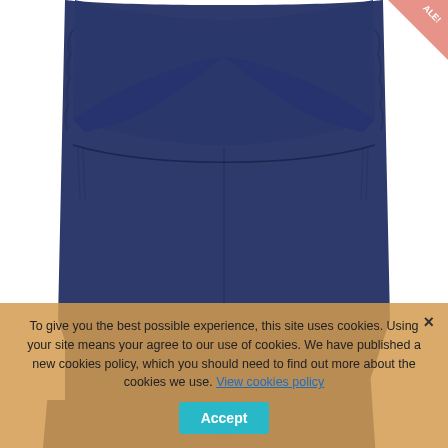[Figure (photo): Back view of navy blue high-waisted yoga/sports leggings with crossover waistband detail and ruched sides, shown on a model against white background]
To give you the best possible experience, this site uses cookies. Using your site means your agree to our use of cookies. We have published a new cookies policy, which you should need to find out more about the cookies we use. View cookies policy. Accept